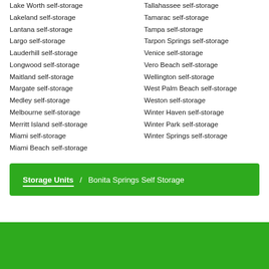Lake Worth self-storage
Lakeland self-storage
Lantana self-storage
Largo self-storage
Lauderhill self-storage
Longwood self-storage
Maitland self-storage
Margate self-storage
Medley self-storage
Melbourne self-storage
Merritt Island self-storage
Miami self-storage
Miami Beach self-storage
Tallahassee self-storage
Tamarac self-storage
Tampa self-storage
Tarpon Springs self-storage
Venice self-storage
Vero Beach self-storage
Wellington self-storage
West Palm Beach self-storage
Weston self-storage
Winter Haven self-storage
Winter Park self-storage
Winter Springs self-storage
Storage Units / Bonita Springs Self Storage
Popular Cities
Houston, TX | Denver, CO | Atlanta, GA | Philadelphia, PA | Las Vegas, NV |